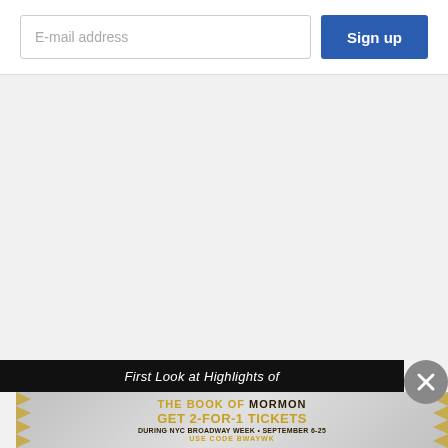[Figure (screenshot): Email signup form with an email address input field and a blue 'Sign up' button]
[Figure (screenshot): Gray empty content area]
First Look at Highlights of
[Figure (infographic): Advertisement banner for The Book of Mormon musical. Text: THE BOOK OF MORMON - GET 2-FOR-1 TICKETS - DURING NYC BROADWAY WEEK • SEPTEMBER 6-25 - USE CODE BWAYWK - GET TICKETS]